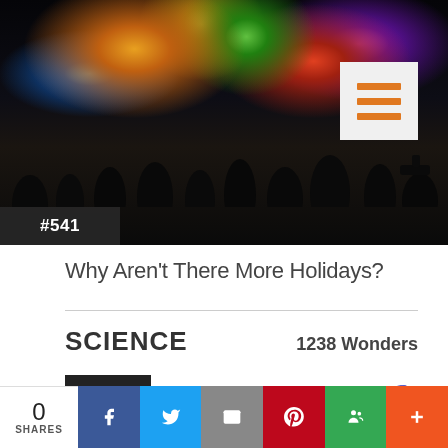[Figure (photo): Fireworks display at night with silhouettes of people watching, with #541 label overlay in dark box at bottom left, and hamburger menu icon in light grey box at top right]
Why Aren't There More Holidays?
SCIENCE   1238 Wonders
#2884
0 SHARES | Facebook | Twitter | Email | Pinterest | Google+ | More